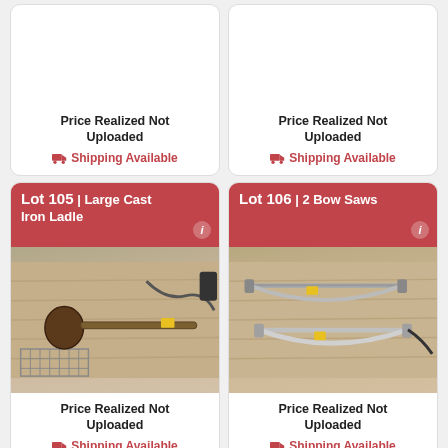Price Realized Not Uploaded
Shipping Available
Price Realized Not Uploaded
Shipping Available
Lot 105 | Large Cast Iron Ladle
[Figure (photo): Large cast iron ladle and other metal items on a wooden floor surface]
Price Realized Not Uploaded
Shipping Available
Lot 106 | 2 Bow Saws
[Figure (photo): Two bow saws with yellow tags on a wooden floor surface]
Price Realized Not Uploaded
Shipping Available